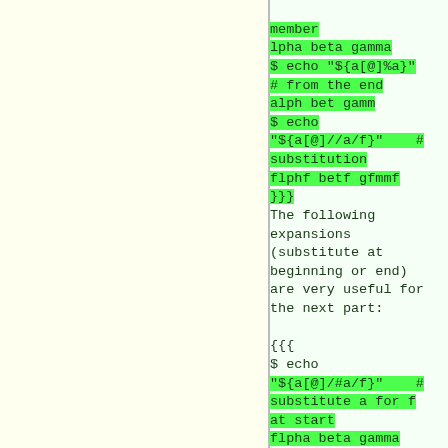member
lpha beta gamma
$ echo "${a[@]%a}"
# from the end
alph bet gamm
$ echo
"${a[@]//a/f}"    # substitution
flphf betf gfmmf
}}}
The following expansions (substitute at beginning or end) are very useful for the next part:

{{{
$ echo
"${a[@]/#a/f}"    # substitute a for f at start
flpha beta gamma
$ echo
"${a[@]/%a/f}"    #